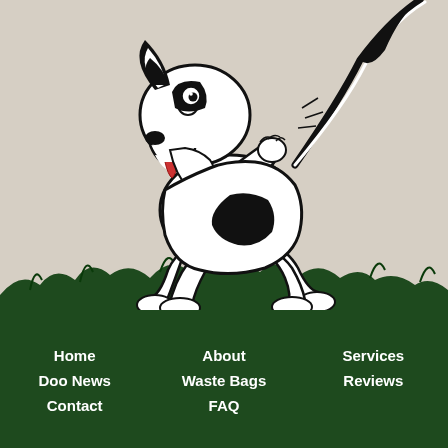[Figure (illustration): Black and white cartoon illustration of a playful dog (fox terrier style) scratching itself, standing on green grass. The dog is depicted in a humorous pose with bold black ink lines on a beige/cream background.]
Home
About
Services
Doo News
Waste Bags
Reviews
Contact
FAQ